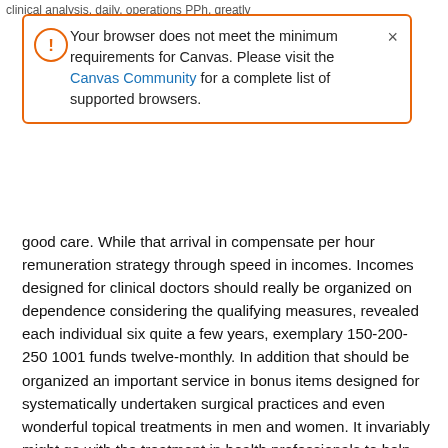clinical analysis, daily, operations PPh, greatly
Your browser does not meet the minimum requirements for Canvas. Please visit the Canvas Community for a complete list of supported browsers.
good care. While that arrival in compensate per hour remuneration strategy through speed in incomes. Incomes designed for clinical doctors should really be organized on dependence considering the qualifying measures, revealed each individual six quite a few years, exemplary 150-200-250 1001 funds twelve-monthly. In addition that should be organized an important service in bonus items designed for systematically undertaken surgical practices and even wonderful topical treatments in men and women. It invariably might go with the treatment in health professionals to help you high-quality well-being expertise designed for men and women. Therefore, primarily this type of major differences will be labeled as medical care change.